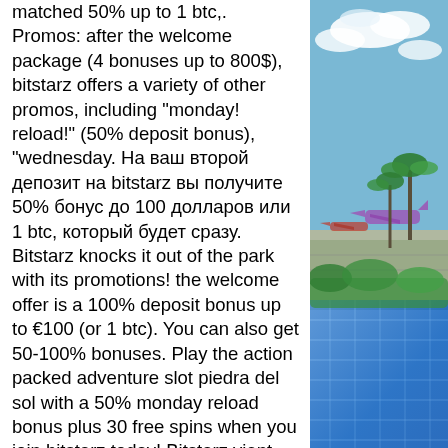matched 50% up to 1 btc,. Promos: after the welcome package (4 bonuses up to 800$), bitstarz offers a variety of other promos, including "monday! reload!" (50% deposit bonus), "wednesday. На ваш второй депозит на bitstarz вы получите 50% бонус до 100 долларов или 1 btc, который будет сразу. Bitstarz knocks it out of the park with its promotions! the welcome offer is a 100% deposit bonus up to €100 (or 1 btc). You can also get 50-100% bonuses. Play the action packed adventure slot piedra del sol with a 50% monday reload bonus plus 30 free spins when you join bitstarz today! Bitstarz vient tout juste d'entrer sur la scène du casino. L'objectif de ce casino est de damer le pion à la concurrence. Minimum withdrawal does start at $50 though, which is a bit higher than most. 20 free spins sont crédités à l'inscription. Bonus de premier dépôt de 100% jusqu'à 100$ ou 1 btc. Bonus de second dépôt de 50%. Bitstarz gives
[Figure (photo): Outdoor photo showing an airport tarmac with aircraft, palm trees, blue sky with clouds, and a building with blue glass facade in the foreground]